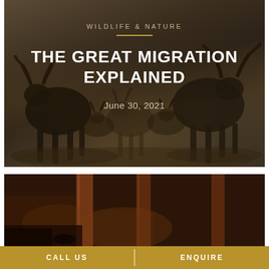[Figure (photo): Dark atmospheric photo of wildebeest/gnu herd in sepia tones with text overlay showing article header]
WILDLIFE & NATURE
THE GREAT MIGRATION EXPLAINED
June 30, 2021
[Figure (photo): Dark warm-toned photo of what appears to be a lodge or building with columns at dusk/night]
CALL US   ENQUIRE